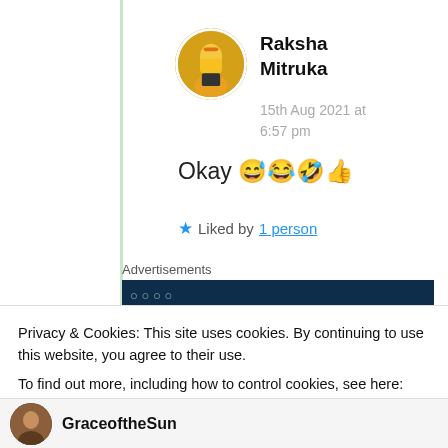Raksha Mitruka
15th Aug 2021 at 6:57 pm
Okay 😅😂🤣👍
★ Liked by 1 person
Advertisements
Privacy & Cookies: This site uses cookies. By continuing to use this website, you agree to their use.
To find out more, including how to control cookies, see here: Cookie Policy
Close and accept
GraceoftheSun